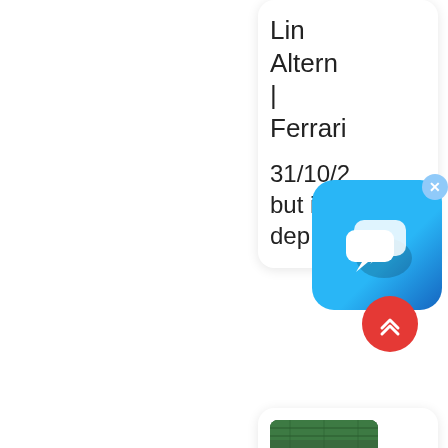Line Altern | Ferrari
31/10/2 but it m dep
[Figure (screenshot): Chat/messaging app icon overlay with blue gradient background and speech bubble icons, with a close (x) button in top right corner]
[Figure (photo): Thumbnail image of an industrial or manufacturing facility interior, aerial or overhead view]
Hydrin For Fuel Hose Applic | Zeon Chemi
[Figure (other): Red circular scroll-to-top button with double chevron up arrow]